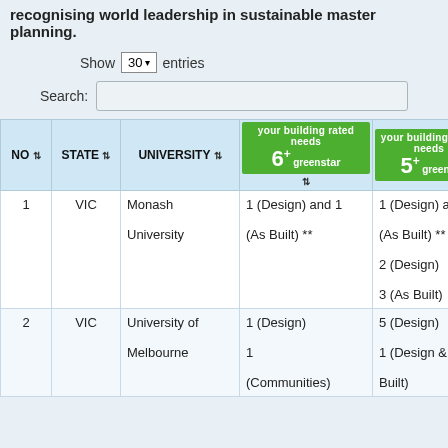recognising world leadership in sustainable master planning.
Show 30 entries
Search:
| NO | STATE | UNIVERSITY | 6+ greenstar | 5+ greenstar |
| --- | --- | --- | --- | --- |
| 1 | VIC | Monash University | 1 (Design) and 1 (As Built) ** | 1 (Design) and 1 (As Built) **
2 (Design)
3 (As Built) |
| 2 | VIC | University of Melbourne | 1 (Design)
1 (Communities) | 5 (Design)
1 (Design & As Built) |